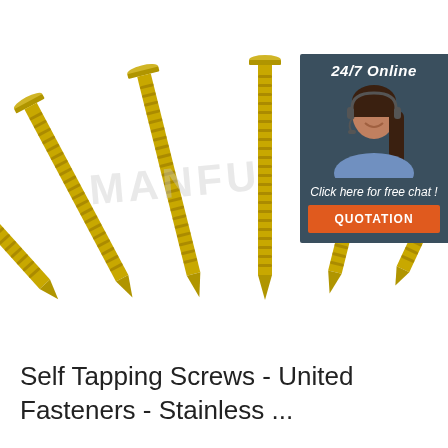[Figure (photo): Six gold/brass-colored self-tapping screws arranged in a fan pattern with pointed tips at the bottom and flat countersunk heads at the top. Background is white. A watermark text 'MANFU' is faintly visible across the screws.]
[Figure (infographic): Dark blue-gray badge overlay on the top-right of the product image showing '24/7 Online' text, a smiling woman with a headset, 'Click here for free chat!' text in italic, and an orange 'QUOTATION' button.]
Self Tapping Screws - United Fasteners - Stainless ...